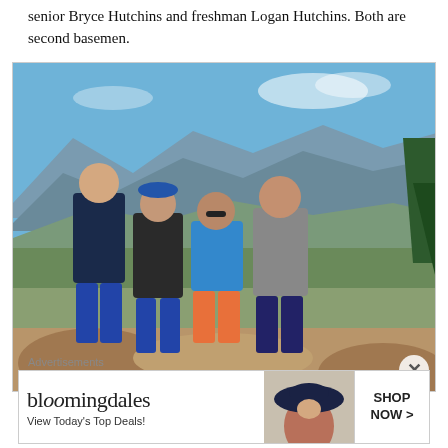senior Bryce Hutchins and freshman Logan Hutchins. Both are second basemen.
[Figure (photo): Family of four posing on a rocky mountain overlook with a panoramic mountain and valley view behind them. Two young men in dark baseball shirts and blue shorts, a woman in a blue top and coral shorts, and a man in a gray shirt and dark shorts.]
Advertisements
[Figure (other): Bloomingdale's advertisement banner: 'bloomingdales / View Today's Top Deals!' with image of woman in large hat and 'SHOP NOW >' button.]